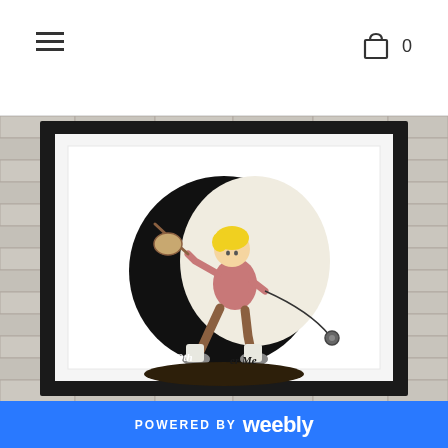☰  🛍 0
[Figure (photo): A framed artwork print displayed against a white brick wall background. The frame is black with a white mat. Inside is an illustration showing a young blond child in a pink shirt and brown pants, walking and pulling something with a rod, set against a black circular background. Text on the artwork reads 'The Other Me'.]
POWERED BY weebly